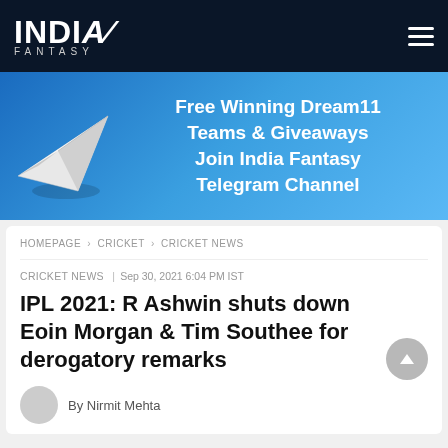INDIA FANTASY
[Figure (infographic): India Fantasy Telegram Channel promotional banner with paper plane icon. Text: Free Winning Dream11 Teams & Giveaways Join India Fantasy Telegram Channel]
HOMEPAGE > CRICKET > CRICKET NEWS
CRICKET NEWS | Sep 30, 2021 6:04 PM IST
IPL 2021: R Ashwin shuts down Eoin Morgan & Tim Southee for derogatory remarks
By Nirmit Mehta